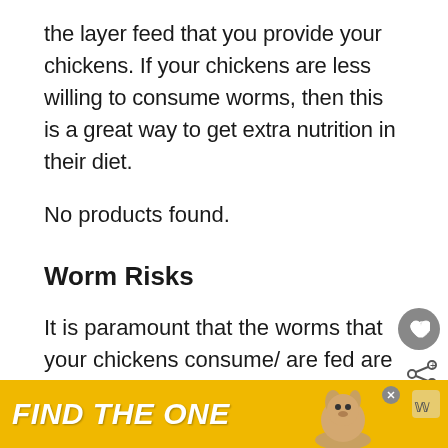the layer feed that you provide your chickens. If your chickens are less willing to consume worms, then this is a great way to get extra nutrition in their diet.
No products found.
Worm Risks
It is paramount that the worms that your chickens consume/ are fed are
[Figure (infographic): Advertisement banner with yellow background showing text 'FIND THE ONE' in white bold italic font, with a dog image on the right and a close/mute button.]